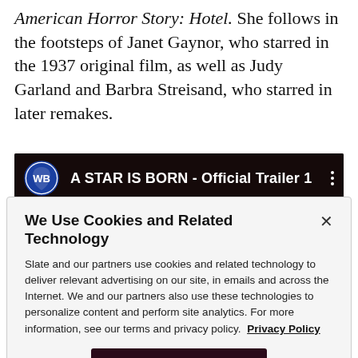American Horror Story: Hotel. She follows in the footsteps of Janet Gaynor, who starred in the 1937 original film, as well as Judy Garland and Barbra Streisand, who starred in later remakes.
[Figure (screenshot): YouTube video thumbnail for 'A STAR IS BORN - Official Trailer 1' with Warner Bros logo on dark background showing concert scene.]
We Use Cookies and Related Technology
Slate and our partners use cookies and related technology to deliver relevant advertising on our site, in emails and across the Internet. We and our partners also use these technologies to personalize content and perform site analytics. For more information, see our terms and privacy policy. Privacy Policy
OK